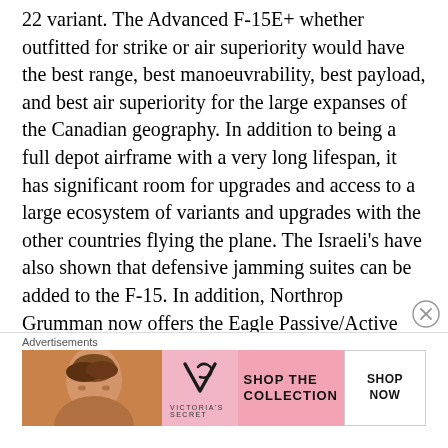22 variant. The Advanced F-15E+ whether outfitted for strike or air superiority would have the best range, best manoeuvrability, best payload, and best air superiority for the large expanses of the Canadian geography. In addition to being a full depot airframe with a very long lifespan, it has significant room for upgrades and access to a large ecosystem of variants and upgrades with the other countries flying the plane. The Israeli's have also shown that defensive jamming suites can be added to the F-15. In addition, Northrop Grumman now offers the Eagle Passive/Active Warning Survivability System (EPAWSS). The Saudi Arabia's new F-15SA variant will have a full FBW system. Conformal
[Figure (other): Victoria's Secret advertisement banner with model photo, VS logo, 'SHOP THE COLLECTION' text, and 'SHOP NOW' button]